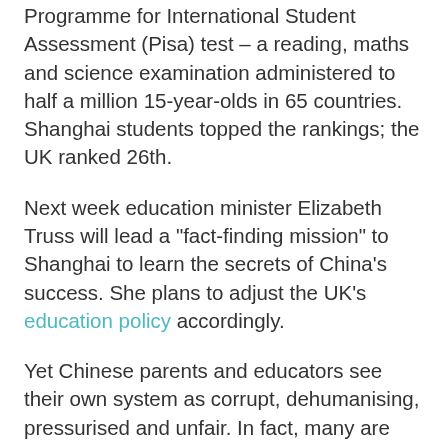Programme for International Student Assessment (Pisa) test – a reading, maths and science examination administered to half a million 15-year-olds in 65 countries. Shanghai students topped the rankings; the UK ranked 26th.
Next week education minister Elizabeth Truss will lead a "fact-finding mission" to Shanghai to learn the secrets of China's success. She plans to adjust the UK's education policy accordingly.
Yet Chinese parents and educators see their own system as corrupt, dehumanising, pressurised and unfair. In fact, many are looking to the west for answers. Huang said that some parents bribe Shijia primary school to admit their children (though she declined to say whether she had done so herself).
Tingting attends an expensive cramming school at weekends, leaving her tired. She will probably have to abandon extracurricular activities in high school to devote more time to the college...